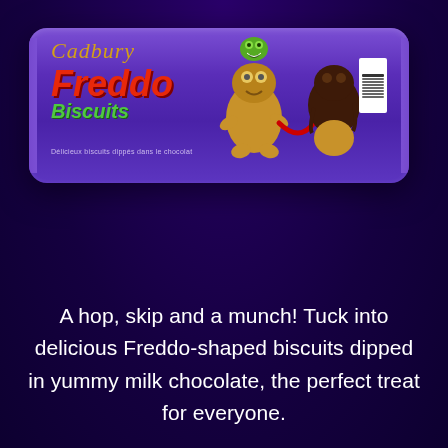[Figure (photo): Cadbury Freddo Biscuits packet on dark purple background. The purple packet shows the Cadbury gold script logo, 'Freddo' in red italic lettering and 'Biscuits' in green, with a cartoon frog character holding a chocolate hose spraying chocolate, and a half-chocolate-dipped frog-shaped biscuit.]
A hop, skip and a munch! Tuck into delicious Freddo-shaped biscuits dipped in yummy milk chocolate, the perfect treat for everyone.